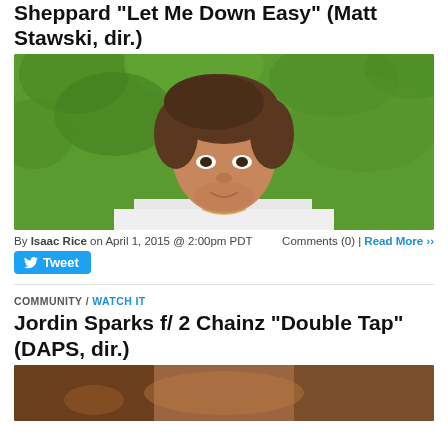Sheppard "Let Me Down Easy" (Matt Stawski, dir.)
[Figure (photo): Close-up photo of a young man with brown hair wearing a white t-shirt with a gold chain necklace, outdoors with green foliage background]
By Isaac Rice on April 1, 2015 @ 2:00pm PDT    Comments (0) | Read More ›› Tweet
COMMUNITY / WATCH IT
Jordin Sparks f/ 2 Chainz "Double Tap" (DAPS, dir.)
[Figure (photo): Bottom portion of a music video still with warm brown/orange tones]